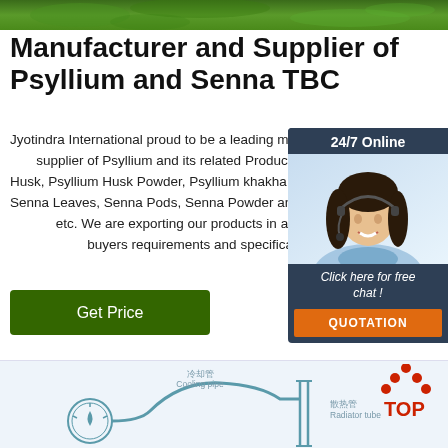[Figure (photo): Green foliage/plant background image strip at top of page]
Manufacturer and Supplier of Psyllium and Senna TBC
Jyotindra International proud to be a leading manufacturer and supplier of Psyllium and its related Products like Psyllium Husk, Psyllium Husk Powder, Psyllium khakha Powder, Senna Leaves, Senna Pods, Senna Powder and Senna Extract etc. We are exporting our products in all over the world as per buyers requirements and specifications.
[Figure (other): 24/7 Online chat widget with photo of woman with headset, 'Click here for free chat!' text and orange QUOTATION button]
Get Price
[Figure (engineering-diagram): Technical diagram showing cooling pipe (冷却管 Cooling pipe) and radiator tube (散热管 Radiator tube) with schematic illustration of cooling system components]